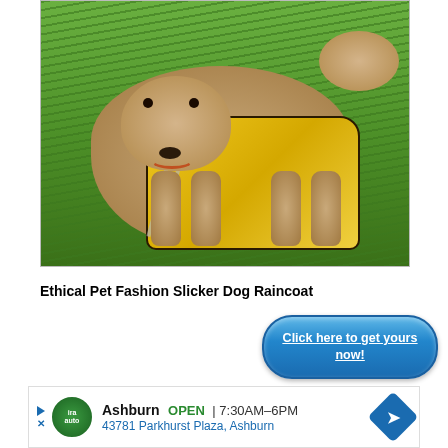[Figure (photo): A golden doodle dog wearing a yellow raincoat with reflective silver stripes, standing on green grass, mouth open and appearing happy.]
Ethical Pet Fashion Slicker Dog Raincoat
Click here to get yours now!
Ashburn OPEN | 7:30AM–6PM  43781 Parkhurst Plaza, Ashburn